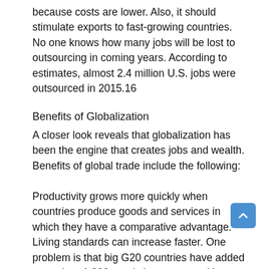because costs are lower. Also, it should stimulate exports to fast-growing countries. No one knows how many jobs will be lost to outsourcing in coming years. According to estimates, almost 2.4 million U.S. jobs were outsourced in 2015.16
Benefits of Globalization
A closer look reveals that globalization has been the engine that creates jobs and wealth. Benefits of global trade include the following:
Productivity grows more quickly when countries produce goods and services in which they have a comparative advantage. Living standards can increase faster. One problem is that big G20 countries have added more than 1,200 restrictive export and import measures since 2008. Global competition and cheap imports keep prices down, so inflation is less likely to stop economic growth. However, in